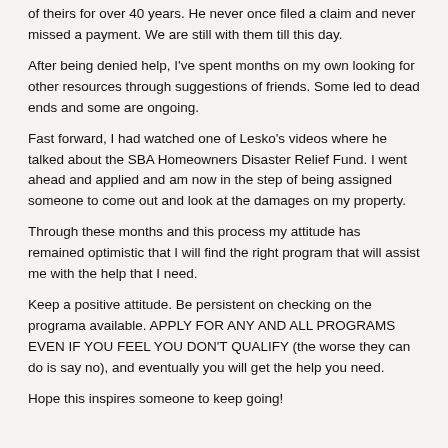of theirs for over 40 years. He never once filed a claim and never missed a payment. We are still with them till this day.
After being denied help, I've spent months on my own looking for other resources through suggestions of friends. Some led to dead ends and some are ongoing.
Fast forward, I had watched one of Lesko's videos where he talked about the SBA Homeowners Disaster Relief Fund. I went ahead and applied and am now in the step of being assigned someone to come out and look at the damages on my property.
Through these months and this process my attitude has remained optimistic that I will find the right program that will assist me with the help that I need.
Keep a positive attitude. Be persistent on checking on the programa available. APPLY FOR ANY AND ALL PROGRAMS EVEN IF YOU FEEL YOU DON’T QUALIFY (the worse they can do is say no), and eventually you will get the help you need.
Hope this inspires someone to keep going!
5…Received My Grant from You Today. I cannot Thank You Enough.
I Received My Grant! Thank You Matthew Lesko For Helping.